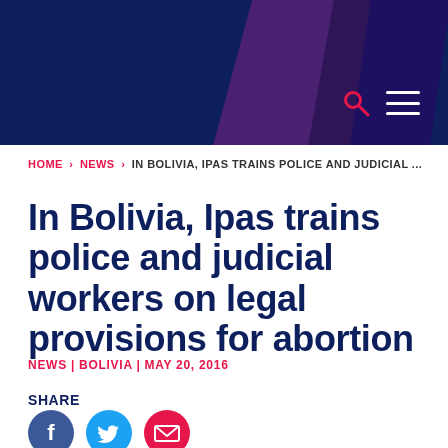[Figure (other): Website header banner with dark navy blue background and purple/violet diagonal geometric shapes on the right side, with a search icon and hamburger menu icon in the bottom right]
HOME > NEWS > IN BOLIVIA, IPAS TRAINS POLICE AND JUDICIAL ...
In Bolivia, Ipas trains police and judicial workers on legal provisions for abortion
NEWS | BOLIVIA | MAY 20, 2016
SHARE
[Figure (other): Social media share icons: Facebook (blue circle with f), Twitter (light blue circle with bird), Email (pink/magenta circle with envelope)]